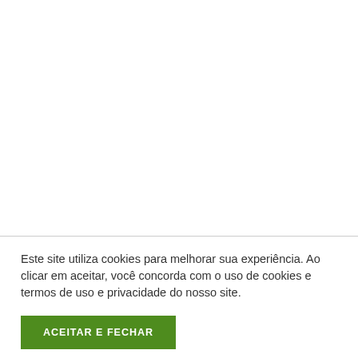Este site utiliza cookies para melhorar sua experiência. Ao clicar em aceitar, você concorda com o uso de cookies e termos de uso e privacidade do nosso site.
ACEITAR E FECHAR